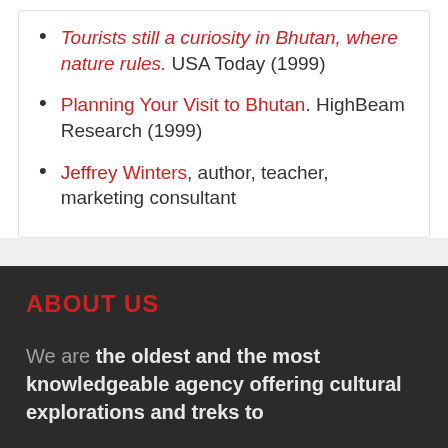Tourists still a curiosity in Bhutan, where nature rules. USA Today (1999)
Planning Your Visit to Bhutan. HighBeam Research (1999)
Jeffrey Winters, author, teacher, marketing consultant
ABOUT US
We are the oldest and the most knowledgeable agency offering cultural explorations and treks to